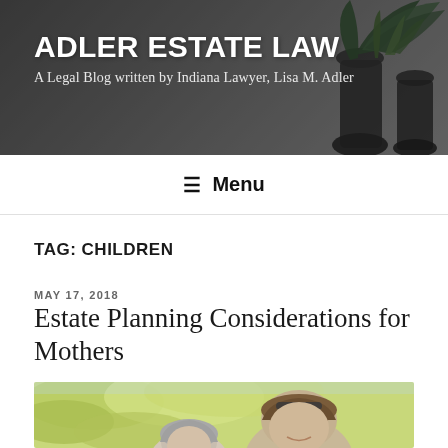ADLER ESTATE LAW
A Legal Blog written by Indiana Lawyer, Lisa M. Adler
Menu
TAG: CHILDREN
MAY 17, 2018
Estate Planning Considerations for Mothers
[Figure (photo): Two women outdoors with blurred yellow-green foliage background — an older woman with grey hair in the foreground and a younger middle-aged woman smiling behind her]